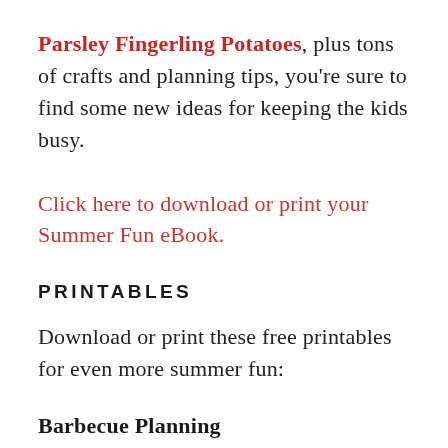Parsley Fingerling Potatoes, plus tons of crafts and planning tips, you're sure to find some new ideas for keeping the kids busy.
Click here to download or print your Summer Fun eBook.
PRINTABLES
Download or print these free printables for even more summer fun:
Barbecue Planning